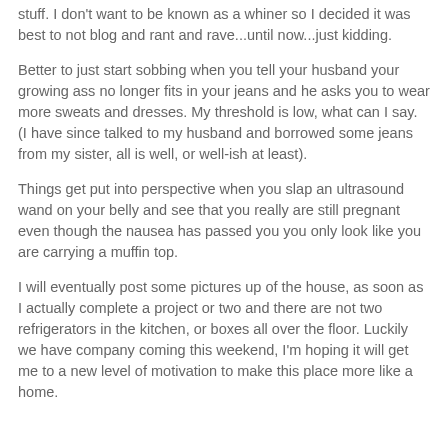stuff.  I don't want to be known as a whiner so I decided it was best to not blog and rant and rave...until now...just kidding.
Better to just start sobbing when you tell your husband your growing ass no longer fits in your jeans and he asks you to wear more sweats and dresses.  My threshold is low, what can I say.  (I have since talked to my husband and borrowed some jeans from my sister, all is well, or well-ish at least).
Things get put into perspective when you slap an ultrasound wand on your belly and see that you really are still pregnant even though the nausea has passed you you only look like you are carrying a muffin top.
I will eventually post some pictures up of the house, as soon as I actually complete a project or two and there are not two refrigerators in the kitchen, or boxes all over the floor.  Luckily we have company coming this weekend, I'm hoping it will get me to a new level of motivation to make this place more like a home.